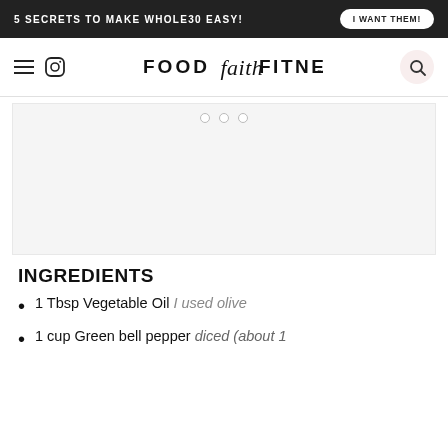5 SECRETS TO MAKE WHOLE30 EASY!  I WANT THEM!
[Figure (logo): Food Faith Fitness website navigation bar with hamburger menu, Instagram icon, Food Faith Fitness logo, and search icon]
[Figure (other): Advertisement placeholder area with three dots indicator]
INGREDIENTS
1 Tbsp Vegetable Oil I used olive
1 cup Green bell pepper diced (about 1